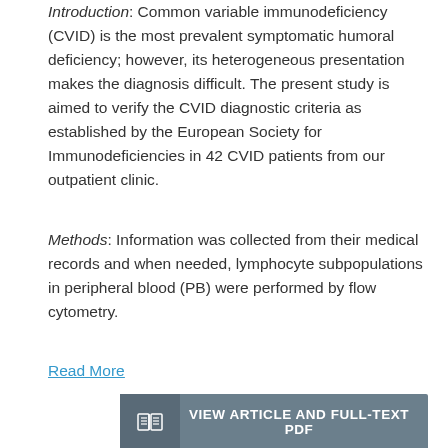Introduction: Common variable immunodeficiency (CVID) is the most prevalent symptomatic humoral deficiency; however, its heterogeneous presentation makes the diagnosis difficult. The present study is aimed to verify the CVID diagnostic criteria as established by the European Society for Immunodeficiencies in 42 CVID patients from our outpatient clinic.
Methods: Information was collected from their medical records and when needed, lymphocyte subpopulations in peripheral blood (PB) were performed by flow cytometry. Read More
[Figure (other): Gray button labeled VIEW ARTICLE AND FULL-TEXT PDF with open book icon on left]